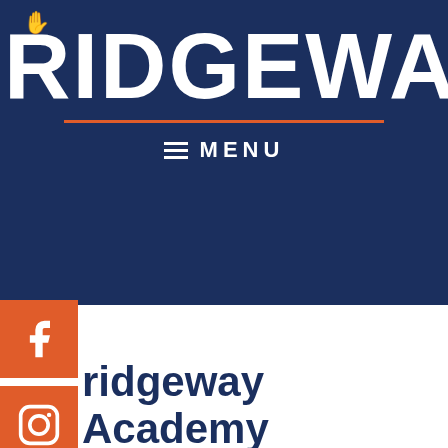[Figure (logo): Bridgeway Academy logo in white bold text on dark navy background with an orange hand icon above the letter i, and an orange horizontal line below the text]
≡  MENU
[Figure (logo): Facebook social media icon in white on orange square background]
[Figure (logo): Instagram social media icon in white on orange square background]
[Figure (logo): Twitter/X social media icon in white on orange square background]
[Figure (logo): YouTube social media icon in white on orange square background]
ridgeway Academy to open Secondary ...